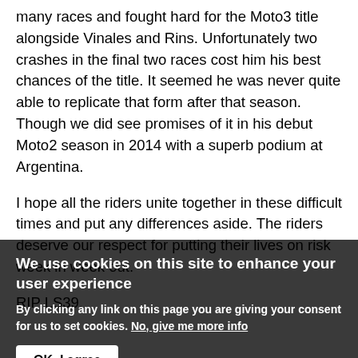many races and fought hard for the Moto3 title alongside Vinales and Rins. Unfortunately two crashes in the final two races cost him his best chances of the title. It seemed he was never quite able to replicate that form after that season. Though we did see promises of it in his debut Moto2 season in 2014 with a superb podium at Argentina.
I hope all the riders unite together in these difficult times and put any differences aside. The riders deserve our respect for putting their lives on risk week in week out.
RIP LS39.
We use cookies on this site to enhance your user experience
By clicking any link on this page you are giving your consent for us to set cookies. No, give me more info
OK, I agree